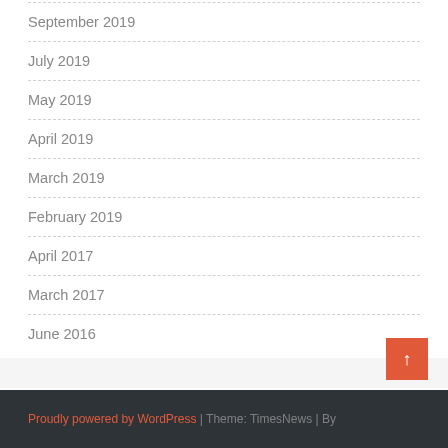September 2019
July 2019
May 2019
April 2019
March 2019
February 2019
April 2017
March 2017
June 2016
Proudly powered by WordPress | Theme: TimesNews | By